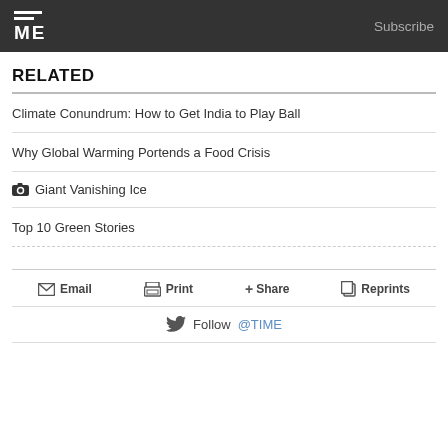TIME — Subscribe
RELATED
Climate Conundrum: How to Get India to Play Ball
Why Global Warming Portends a Food Crisis
📷 Giant Vanishing Ice
Top 10 Green Stories
Email  Print  + Share  Reprints
Follow @TIME